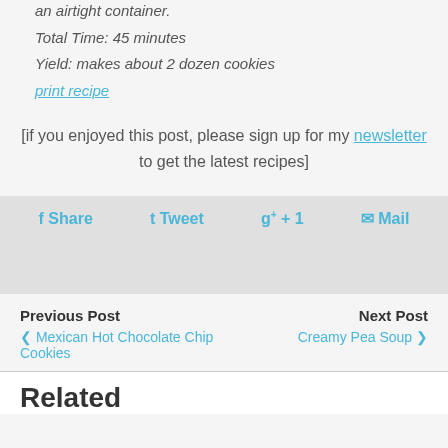an airtight container.
Total Time: 45 minutes
Yield: makes about 2 dozen cookies
print recipe
[if you enjoyed this post, please sign up for my newsletter to get the latest recipes]
Share  Tweet  g+ 1  Mail
Previous Post
< Mexican Hot Chocolate Chip Cookies
Next Post
Creamy Pea Soup >
Related